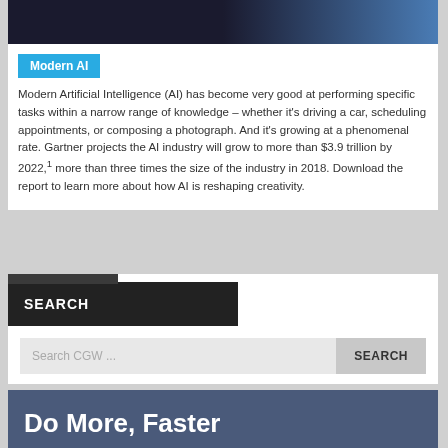[Figure (photo): Dark image strip showing a partial photo with dark background on left and blue tones on right]
Modern AI
Modern Artificial Intelligence (AI) has become very good at performing specific tasks within a narrow range of knowledge – whether it's driving a car, scheduling appointments, or composing a photograph. And it's growing at a phenomenal rate. Gartner projects the AI industry will grow to more than $3.9 trillion by 2022,1 more than three times the size of the industry in 2018. Download the report to learn more about how AI is reshaping creativity.
SEARCH
Search CGW ...
Do More, Faster